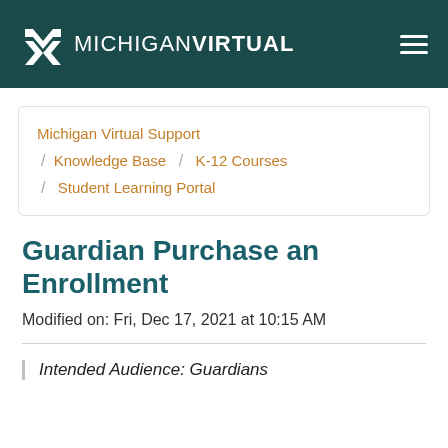[Figure (logo): Michigan Virtual logo with chevron/arrow icon on dark teal header background, with hamburger menu icon on right]
Michigan Virtual Support / Knowledge Base / K-12 Courses / Student Learning Portal
Guardian Purchase an Enrollment
Modified on: Fri, Dec 17, 2021 at 10:15 AM
Intended Audience: Guardians